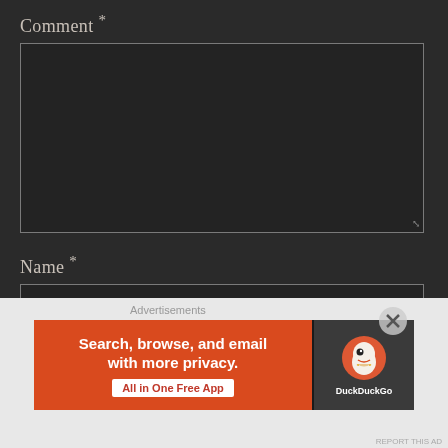Comment *
[Figure (screenshot): Empty comment text area input box with dark background and light border]
Name *
[Figure (screenshot): Empty name text input box with dark background and light border]
[Figure (screenshot): DuckDuckGo advertisement banner: orange left panel with text 'Search, browse, and email with more privacy. All in One Free App', dark right panel with DuckDuckGo duck logo and brand name]
Advertisements